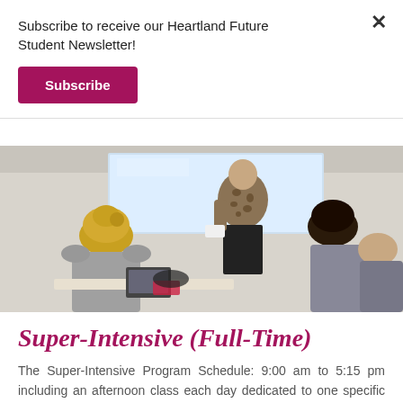Subscribe to receive our Heartland Future Student Newsletter!
Subscribe
[Figure (photo): Classroom scene with a teacher standing at the front near a whiteboard/screen, showing papers to seated students. Students visible from behind, teacher wearing a leopard-print top.]
Super-Intensive (Full-Time)
The Super-Intensive Program Schedule: 9:00 am to 5:15 pm including an afternoon class each day dedicated to one specific skill and the choice of an IELTS Test Preparation Class or...